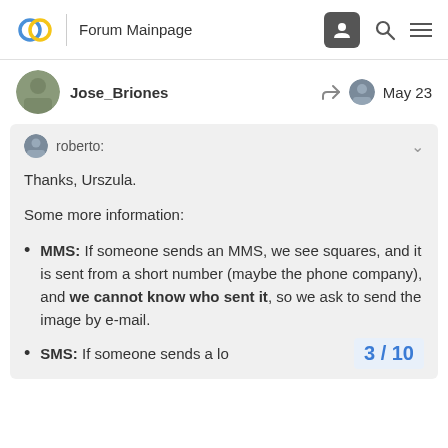Forum Mainpage
Jose_Briones   May 23
roberto:
Thanks, Urszula.

Some more information:
MMS: If someone sends an MMS, we see squares, and it is sent from a short number (maybe the phone company), and we cannot know who sent it, so we ask to send the image by e-mail.
SMS: If someone sends a lo…
3 / 10